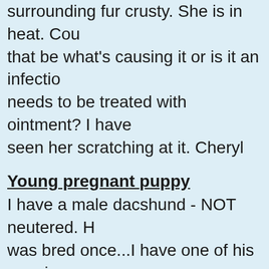surrounding fur crusty. She is in heat. Could that be what's causing it or is it an infection needs to be treated with ointment? I haven seen her scratching at it. Cheryl
Young pregnant puppy
I have a male dacshund - NOT neutered. He was bred once...I have one of his puppies. female. She is on her last few days of her "heat" cycle. Up until today, I have been successful in isolating her from him....but he "got to her" today. She is almost 8 months old. What in the world do I need to do? I'm worried for her health and the health of the puppies, if she conceived.
Does e.coli affect dog fertility?